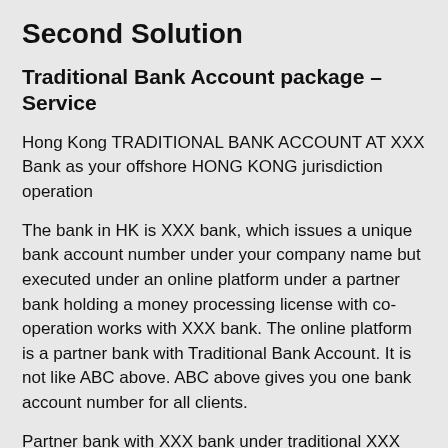Second Solution
Traditional Bank Account package – Service
Hong Kong TRADITIONAL BANK ACCOUNT AT XXX Bank as your offshore HONG KONG jurisdiction operation
The bank in HK is XXX bank, which issues a unique bank account number under your company name but executed under an online platform under a partner bank holding a money processing license with co-operation works with XXX bank. The online platform is a partner bank with Traditional Bank Account. It is not like ABC above. ABC above gives you one bank account number for all clients.
Partner bank with XXX bank under traditional XXX Bank System issues unique bank account number under your company name.